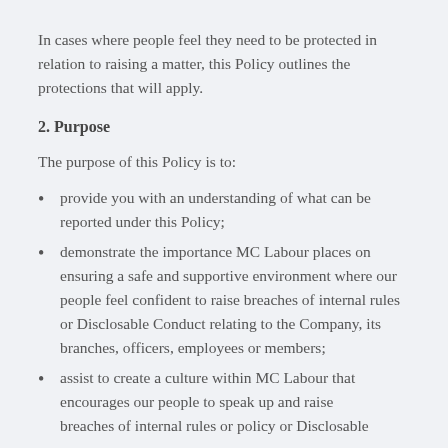In cases where people feel they need to be protected in relation to raising a matter, this Policy outlines the protections that will apply.
2. Purpose
The purpose of this Policy is to:
provide you with an understanding of what can be reported under this Policy;
demonstrate the importance MC Labour places on ensuring a safe and supportive environment where our people feel confident to raise breaches of internal rules or Disclosable Conduct relating to the Company, its branches, officers, employees or members;
assist to create a culture within MC Labour that encourages our people to speak up and raise breaches of internal rules or policy or Disclosable